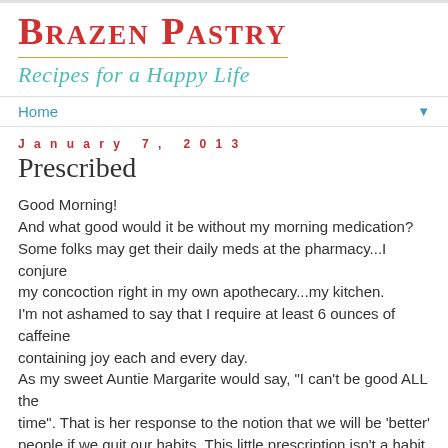Brazen Pastry
Recipes for a Happy Life
Home
January 7, 2013
Prescribed
Good Morning!
And what good would it be without my morning medication?
Some folks may get their daily meds at the pharmacy...I conjure my concoction right in my own apothecary...my kitchen.
I'm not ashamed to say that I require at least 6 ounces of caffeine containing joy each and every day.
As my sweet Auntie Margarite would say, "I can't be good ALL the time". That is her response to the notion that we will be 'better' people if we quit our habits. This little prescription isn't a habit, it's